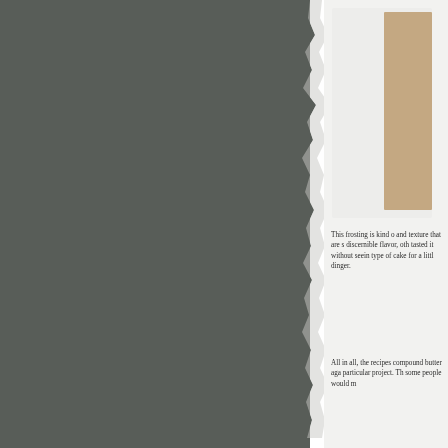[Figure (photo): Dark gray torn paper texture occupying the left two-thirds of the page, with a rough torn edge on the right side revealing a lighter background underneath.]
[Figure (photo): Partially visible image in the upper right panel showing what appears to be a cake or baked item with a tan/beige colored element against a light gray background.]
This frosting is kind of and texture that are s discernible flavor, oth tasted it without seein type of cake for a litt dinger.
All in all, the recipes compound butter aga particular project. Th some people would m